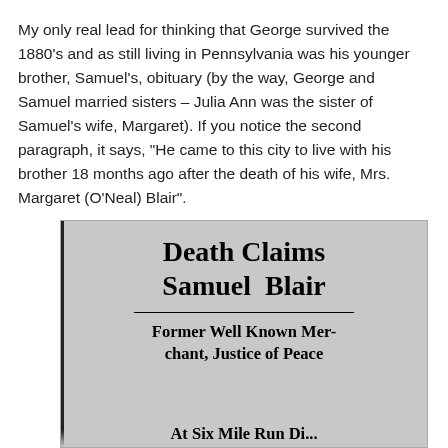My only real lead for thinking that George survived the 1880's and as still living in Pennsylvania was his younger brother, Samuel's, obituary (by the way, George and Samuel married sisters – Julia Ann was the sister of Samuel's wife, Margaret). If you notice the second paragraph, it says, "He came to this city to live with his brother 18 months ago after the death of his wife, Mrs. Margaret (O'Neal) Blair".
[Figure (photo): Newspaper clipping with headline 'Death Claims Samuel Blair' and subheadline 'Former Well Known Merchant, Justice of Peace At Six Mile Run Di...' (text cut off at bottom)]